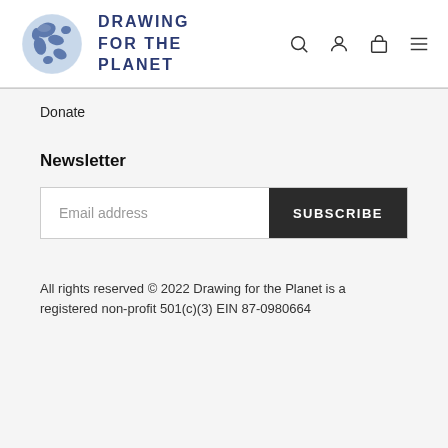[Figure (logo): Drawing for the Planet logo with globe illustration and site name]
Donate
Newsletter
Email address  SUBSCRIBE
All rights reserved © 2022 Drawing for the Planet is a registered non-profit 501(c)(3) EIN 87-0980664